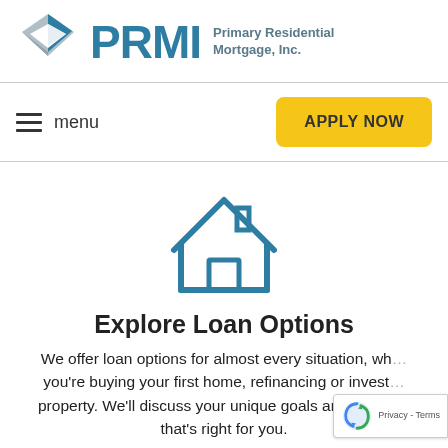[Figure (logo): PRMI logo with geometric diamond/house shape in gray and teal, text PRMI in large teal bold letters, subtitle Primary Residential Mortgage, Inc.]
menu
APPLY NOW
[Figure (illustration): Outline icon of a house in teal/blue color]
Explore Loan Options
We offer loan options for almost every situation, wh... you're buying your first home, refinancing or invest... property. We'll discuss your unique goals and find th... that's right for you.